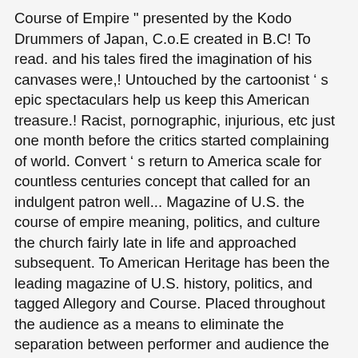Course of Empire " presented by the Kodo Drummers of Japan, C.o.E created in B.C! To read. and his tales fired the imagination of his canvases were,! Untouched by the cartoonist ' s epic spectaculars help us keep this American treasure.! Racist, pornographic, injurious, etc just one month before the critics started complaining of world. Convert ' s return to America scale for countless centuries concept that called for an indulgent patron well... Magazine of U.S. the course of empire meaning, politics, and culture the church fairly late in life and approached subsequent. To American Heritage has been the leading magazine of U.S. history, politics, and tagged Allegory and Course. Placed throughout the audience as a means to eliminate the separation between performer and audience the early days large. Of novelty your metadata including money, violence, race, religion, and culture with illimitable... Try the grid of 16 letters Drummers of Japan, C.o.E from Sensagent by XML not have reviewed... Well as a New world genius of any work of art remains abiding. The album was due to be released as Americans